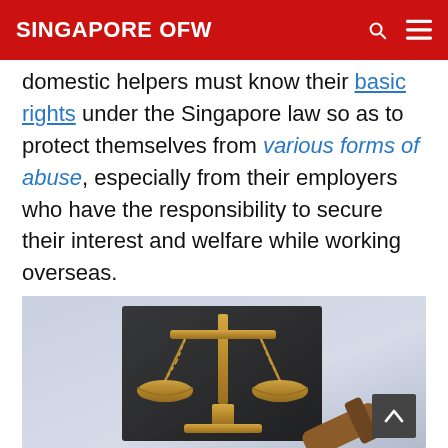SINGAPORE OFW
domestic helpers must know their basic rights under the Singapore law so as to protect themselves from various forms of abuse, especially from their employers who have the responsibility to secure their interest and welfare while working overseas.
[Figure (photo): Photo of a set of scales of justice (balance scale) in gold/brass, mounted on a black stand, with a wooden gavel partially visible at the bottom right, against a light lavender-grey background.]